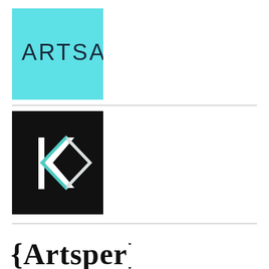[Figure (logo): Artsail logo: cyan/light blue square background with dark navy sans-serif text 'ARTSAIL']
[Figure (logo): KO logo: black square background with white vertical bar and a teal/white diamond outline shape]
[Figure (logo): Artsper logo: black serif text '{Artsper}' with curly braces]